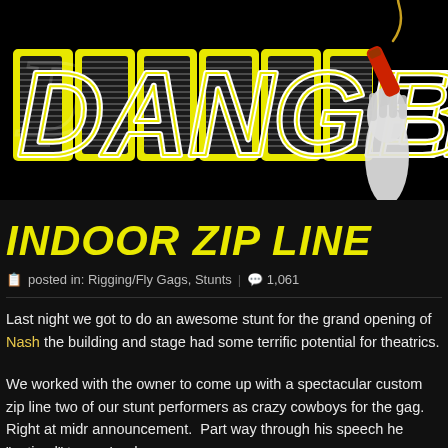[Figure (logo): DangerBo logo — large stylized yellow-outlined block letters 'DANGER' with horizontal stripe texture, partially visible 'B' on right edge, a black-gloved fist holding a lit red stick of dynamite with spark/explosion in upper right, all on black background]
INDOOR ZIP LINE
posted in: Rigging/Fly Gags, Stunts | 1,061
Last night we got to do an awesome stunt for the grand opening of Nash the building and stage had some terrific potential for theatrics.
We worked with the owner to come up with a spectacular custom zip line two of our stunt performers as crazy cowboys for the gag. Right at midr announcement. Part way through his speech he "noticed" two ne'er do